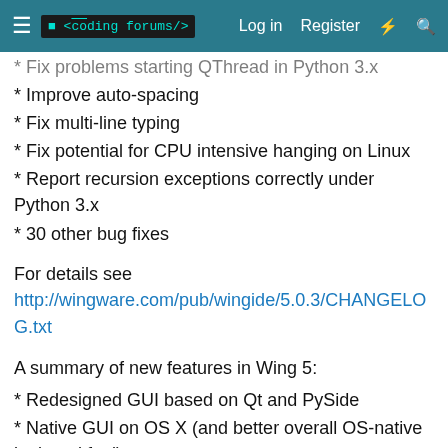≡ <coding forums/> Log in Register ⚡ 🔍
* Fix problems starting QThread in Python 3.x
* Improve auto-spacing
* Fix multi-line typing
* Fix potential for CPU intensive hanging on Linux
* Report recursion exceptions correctly under Python 3.x
* 30 other bug fixes
For details see http://wingware.com/pub/wingide/5.0.3/CHANGELOG.txt
A summary of new features in Wing 5:
* Redesigned GUI based on Qt and PySide
* Native GUI on OS X (and better overall OS-native look and feel)
* Tools and editors can be dragged around
* Toolbar and editor and Project context menus are configurable
* Optional mode that opens different sets of files in each editor split